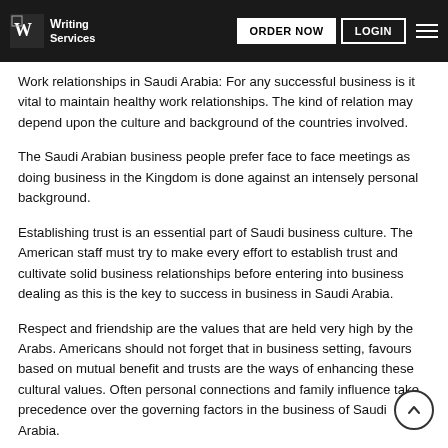Writing Services | ORDER NOW | LOGIN
Work relationships in Saudi Arabia: For any successful business is it vital to maintain healthy work relationships. The kind of relation may depend upon the culture and background of the countries involved.
The Saudi Arabian business people prefer face to face meetings as doing business in the Kingdom is done against an intensely personal background.
Establishing trust is an essential part of Saudi business culture. The American staff must try to make every effort to establish trust and cultivate solid business relationships before entering into business dealing as this is the key to success in business in Saudi Arabia.
Respect and friendship are the values that are held very high by the Arabs. Americans should not forget that in business setting, favours based on mutual benefit and trusts are the ways of enhancing these cultural values. Often personal connections and family influence take precedence over the governing factors in the business of Saudi Arabia.